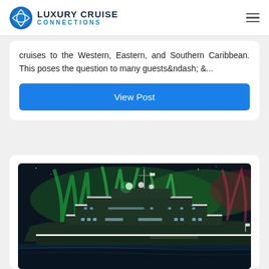LUXURY CRUISE CONNECTIONS
cruises to the Western, Eastern, and Southern Caribbean. This poses the question to many guests&ndash; &...
View Post
[Figure (photo): A luxury cruise ship photographed at night under the northern lights (aurora borealis), with green and reddish aurora visible in the sky above the dark water.]